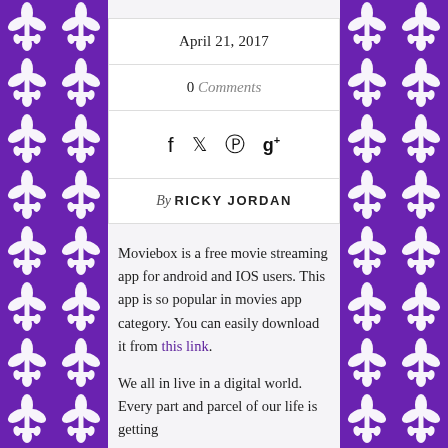April 21, 2017
0 Comments
[Figure (other): Social media share icons: Facebook (f), Twitter (bird), Pinterest (p), Google+ (g+)]
By RICKY JORDAN
Moviebox is a free movie streaming app for android and IOS users. This app is so popular in movies app category. You can easily download it from this link.
We all in live in a digital world. Every part and parcel of our life is getting